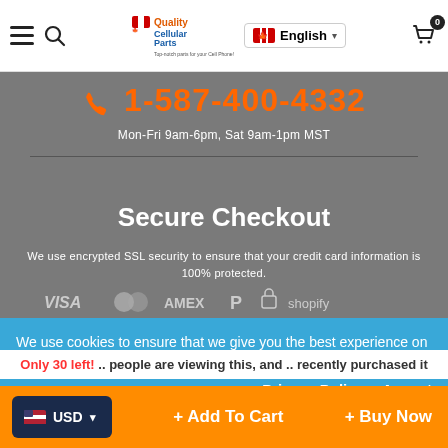Navigation bar with hamburger menu, search icon, Quality Cellular Parts logo, English language selector, cart with 0 items
1-587-400-4332
Mon-Fri 9am-6pm, Sat 9am-1pm MST
Secure Checkout
We use encrypted SSL security to ensure that your credit card information is 100% protected.
[Figure (other): Payment method icons: VISA, Mastercard, AMEX, PayPal, lock icon, Shopify]
We use cookies to ensure that we give you the best experience on our website. For additional details, please read our Privacy Policy.
Privacy Policy    Accept
© 2022 Quality Cellular Parts. All rights reserved.
Only 30 left! .. people are viewing this, and .. recently purchased it
USD  + Add To Cart  + Buy Now